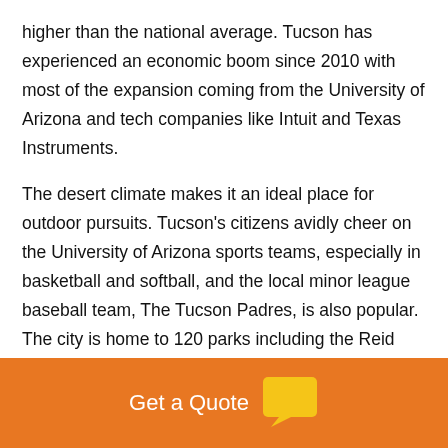higher than the national average. Tucson has experienced an economic boom since 2010 with most of the expansion coming from the University of Arizona and tech companies like Intuit and Texas Instruments.
The desert climate makes it an ideal place for outdoor pursuits. Tucson's citizens avidly cheer on the University of Arizona sports teams, especially in basketball and softball, and the local minor league baseball team, The Tucson Padres, is also popular. The city is home to 120 parks including the Reid Park Zoo and the Tucson Botanical Gardens.
Get a Quote